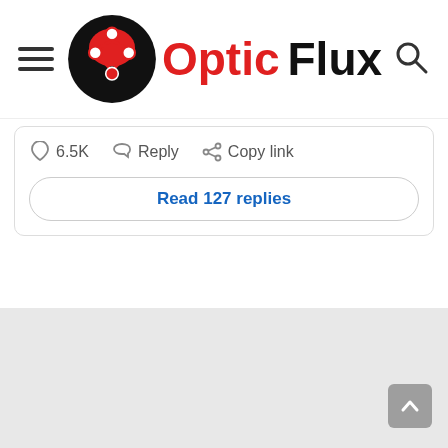Optic Flux
6.5K  Reply  Copy link
Read 127 replies
[Figure (other): Gray content area / advertisement placeholder below the comment section]
[Figure (other): Back to top button (upward arrow on gray background)]